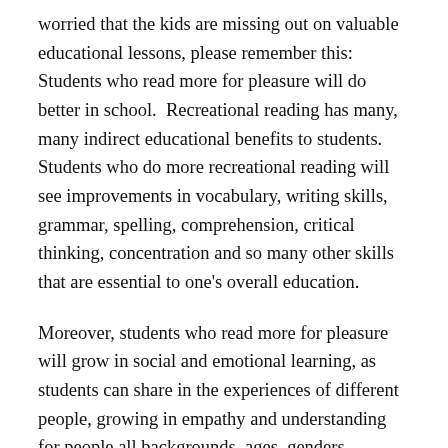worried that the kids are missing out on valuable educational lessons, please remember this: Students who read more for pleasure will do better in school.  Recreational reading has many, many indirect educational benefits to students. Students who do more recreational reading will see improvements in vocabulary, writing skills, grammar, spelling, comprehension, critical thinking, concentration and so many other skills that are essential to one's overall education.
Moreover, students who read more for pleasure will grow in social and emotional learning, as students can share in the experiences of different people, growing in empathy and understanding for people all backgrounds, ages, genders, orientations, beliefs and cultures.
As if those weren't enough reasons for reading,